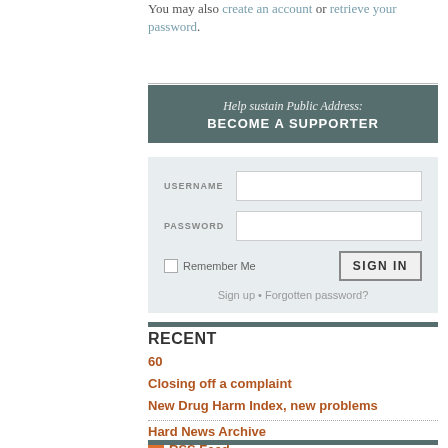You may also create an account or retrieve your password.
[Figure (screenshot): Login form with USERNAME and PASSWORD fields, Remember Me checkbox, and SIGN IN button, with Sign up and Forgotten password links below]
Help sustain Public Address: BECOME A SUPPORTER
RECENT
60
Closing off a complaint
New Drug Harm Index, new problems
Hard News Archive
RSS Feed